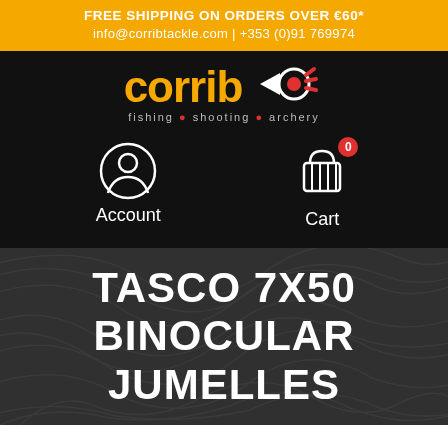FREE SHIPPING ON ORDERS OVER €60*
info@corribtackle.com | +353 (0)91 769974
[Figure (logo): Corrib fishing shooting archery logo on black background with orange text and arrow/target icon]
Account
Cart
TASCO 7X50 BINOCULAR JUMELLES